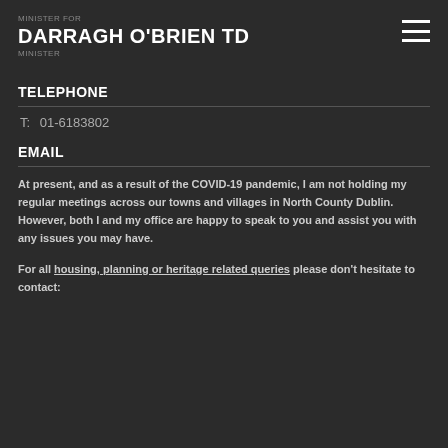DARRAGH O'BRIEN TD
TELEPHONE
T:  01-6183802
EMAIL
At present, and as a result of the COVID-19 pandemic, I am not holding my regular meetings across our towns and villages in North County Dublin. However, both I and my office are happy to speak to you and assist you with any issues you may have.
For all housing, planning or heritage related queries please don't hesitate to contact: